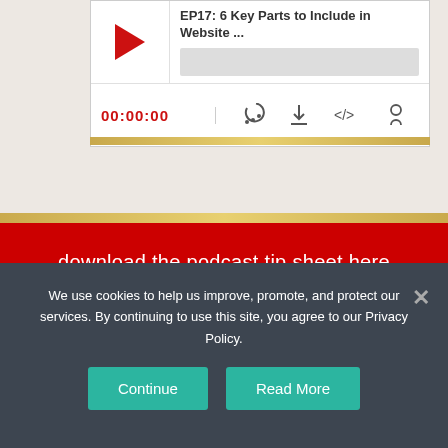[Figure (screenshot): Podcast player widget showing episode title 'EP17: 6 Key Parts to Include in Website ...' with a red play button, timestamp 00:00:00, and control icons for RSS, download, embed and share. A gold bar runs along the bottom.]
[Figure (screenshot): Red call-to-action button with gold border reading 'download the podcast tip sheet here' on a beige background.]
We use cookies to help us improve, promote, and protect our services. By continuing to use this site, you agree to our Privacy Policy.
Continue
Read More